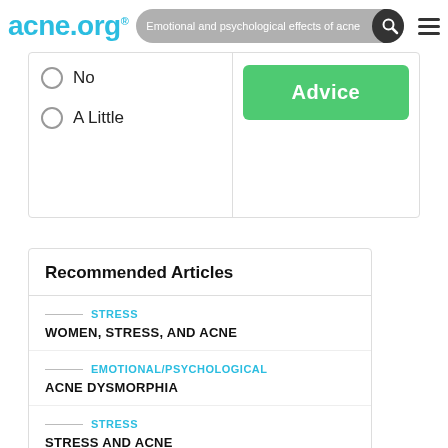acne.org® — Emotional and psychological effects of acne
No
A Little
Advice
Recommended Articles
STRESS — WOMEN, STRESS, AND ACNE
EMOTIONAL/PSYCHOLOGICAL — ACNE DYSMORPHIA
STRESS — STRESS AND ACNE